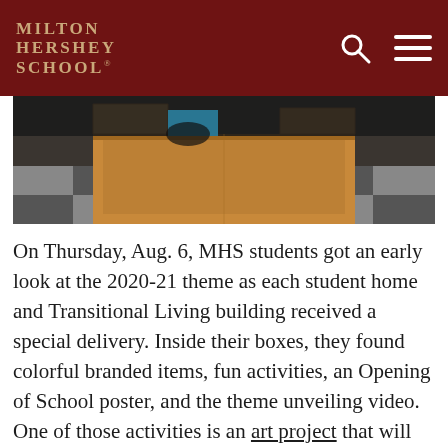MILTON HERSHEY SCHOOL
[Figure (photo): Photo of a cardboard box being opened, showing the interior flaps, on a tiled floor with dark background]
On Thursday, Aug. 6, MHS students got an early look at the 2020-21 theme as each student home and Transitional Living building received a special delivery. Inside their boxes, they found colorful branded items, fun activities, an Opening of School poster, and the theme unveiling video. One of those activities is an art project that will be combined into displays in Memorial Hall, Catherine Hall, and Copenhaver Center.